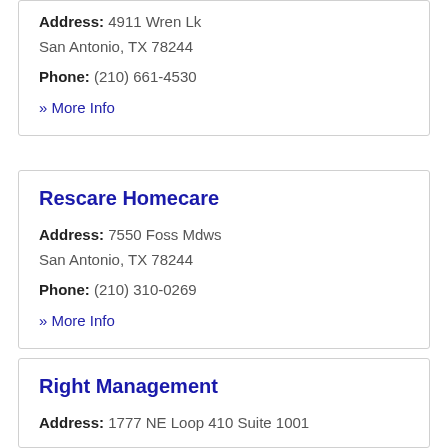Address: 4911 Wren Lk San Antonio, TX 78244
Phone: (210) 661-4530
» More Info
Rescare Homecare
Address: 7550 Foss Mdws San Antonio, TX 78244
Phone: (210) 310-0269
» More Info
Right Management
Address: 1777 NE Loop 410 Suite 1001